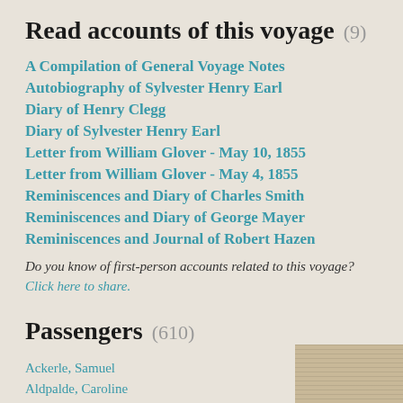Read accounts of this voyage (9)
A Compilation of General Voyage Notes
Autobiography of Sylvester Henry Earl
Diary of Henry Clegg
Diary of Sylvester Henry Earl
Letter from William Glover - May 10, 1855
Letter from William Glover - May 4, 1855
Reminiscences and Diary of Charles Smith
Reminiscences and Diary of George Mayer
Reminiscences and Journal of Robert Hazen
Do you know of first-person accounts related to this voyage? Click here to share.
Passengers (610)
Ackerle, Samuel
Aldpalde, Caroline
Aspey, John
[Figure (photo): Partial image of a document or ledger visible in bottom-right corner]